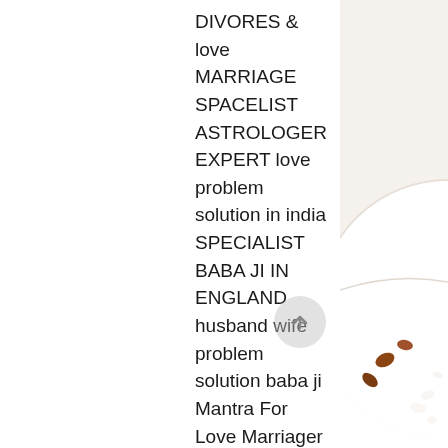DIVORES & love MARRIAGE SPACELIST ASTROLOGER EXPERT love problem solution in india SPECIALIST BABA JI IN ENGLAND husband wife problem solution baba ji Mantra For Love Marriager Husband wife problem solution world famous astroloer Love Problem Solution By Expert In mumbai black magic expert astrologer all problems solution WORLD FAMOUS LOVE for husband India No.1 Astrologer in india|usa$ Maharashtra Mumbai Pune 91-+91-????? ! Nagpur. Andhra Pradesh Hyderabad Kurnool.Karnataka Bangolore.kerala Love Problems Solution Baba Ji Tamil Nadu Chennai.Goa baba ji Ahmedebad Mumbai|varanasi|lucknow|kanpur|amritsar|aurangabad|jaipur kanpur|allahabad|banglore|mumbai |nashik|nagpur|pune|chennai| Mohinifriends AMERICA LONDON CALIFORNIA banglore|noida|gujrat|patna|bihar|ludhiana|hoshirpud|Mumbai No1 Astrologer In Chennai
[Figure (photo): Partial view of a white plate with food items (nuts/seeds) on the right edge of the page, with a light/white background]